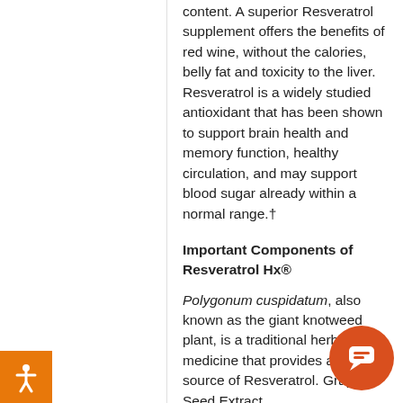content. A superior Resveratrol supplement offers the benefits of red wine, without the calories, belly fat and toxicity to the liver. Resveratrol is a widely studied antioxidant that has been shown to support brain health and memory function, healthy circulation, and may support blood sugar already within a normal range.†
Important Components of Resveratrol Hx®
Polygonum cuspidatum, also known as the giant knotweed plant, is a traditional herbal medicine that provides a stable source of Resveratrol. Grape Seed Extract